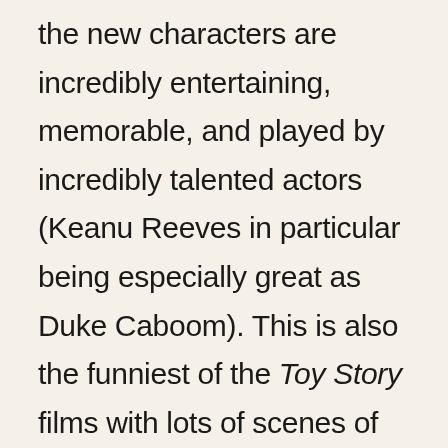the new characters are incredibly entertaining, memorable, and played by incredibly talented actors (Keanu Reeves in particular being especially great as Duke Caboom). This is also the funniest of the Toy Story films with lots of scenes of genuine hilarity. And while the ending isn't quite as emotional as it's been hyped up to be, it still works as a poignant finale (if this is indeed the last film). The animation is excellent, and shows that